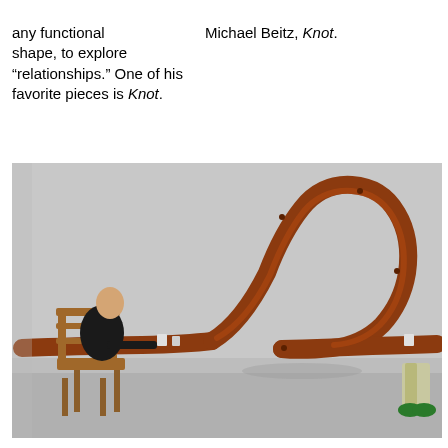any functional shape, to explore “relationships.” One of his favorite pieces is Knot.
Michael Beitz, Knot.
[Figure (photo): Photograph of Michael Beitz's artwork 'Knot' — a long wooden table that curves up dramatically in the middle forming a large arch/knot shape, with one person sitting at a chair on the left end of the table working, and another person's legs visible on the right end, in a gray gallery space.]